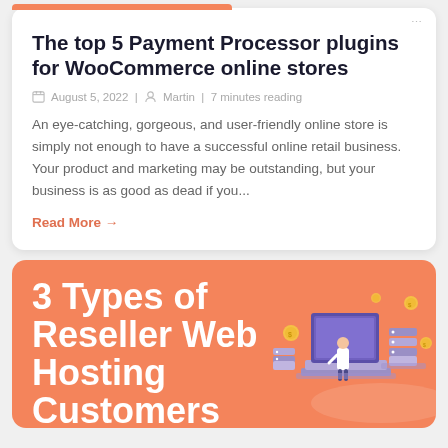The top 5 Payment Processor plugins for WooCommerce online stores
August 5, 2022 | Martin | 7 minutes reading
An eye-catching, gorgeous, and user-friendly online store is simply not enough to have a successful online retail business. Your product and marketing may be outstanding, but your business is as good as dead if you...
Read More →
3 Types of Reseller Web Hosting Customers
[Figure (illustration): Isometric illustration of a person standing at a large monitor, with server stacks and floating coins, on a coral/salmon background]